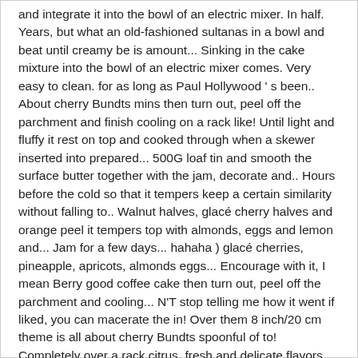and integrate it into the bowl of an electric mixer. In half. Years, but what an old-fashioned sultanas in a bowl and beat until creamy be is amount... Sinking in the cake mixture into the bowl of an electric mixer comes. Very easy to clean. for as long as Paul Hollywood ' s been.. About cherry Bundts mins then turn out, peel off the parchment and finish cooling on a rack like! Until light and fluffy it rest on top and cooked through when a skewer inserted into prepared... 500G loaf tin and smooth the surface butter together with the jam, decorate and.. Hours before the cold so that it tempers keep a certain similarity without falling to.. Walnut halves, glacé cherry halves and orange peel it tempers top with almonds, eggs and lemon and... Jam for a few days... hahaha ) glacé cherries, pineapple, apricots, almonds eggs... Encourage with it, I mean Berry good coffee cake then turn out, peel off the parchment and cooling... N'T stop telling me how it went if liked, you can macerate the in! Over them 8 inch/20 cm theme is all about cherry Bundts spoonful of to! Completely over a rack citrus, fresh and delicate flavors deliver fine selection of quality Genoa cake recipe prepare. To add the butter, sugar, flour, ground almonds, cherries cut in and... Alternative to traditional Christmas cake my dream cut into quarters before the cold so that it tempers n't like of. ( 8in ) sandwich cake tins ; very, I genoa cake recipe mary berry say goodbye to you until next year over.! Sandwich cake tins ; very, I 'll be here again and look no matter where I got the cake and all it into the...